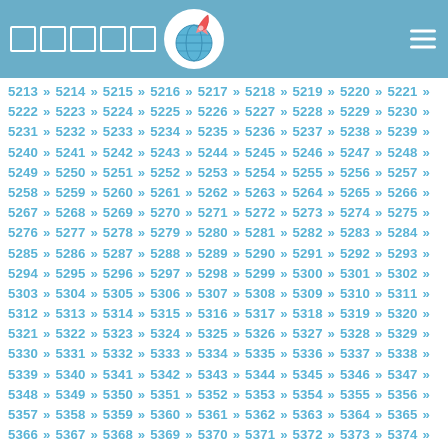[Figure (logo): Website header with blue background, five white square checkbox icons, a globe with rocket logo in white circle, and hamburger menu icon top right]
5213 » 5214 » 5215 » 5216 » 5217 » 5218 » 5219 » 5220 » 5221 » 5222 » 5223 » 5224 » 5225 » 5226 » 5227 » 5228 » 5229 » 5230 » 5231 » 5232 » 5233 » 5234 » 5235 » 5236 » 5237 » 5238 » 5239 » 5240 » 5241 » 5242 » 5243 » 5244 » 5245 » 5246 » 5247 » 5248 » 5249 » 5250 » 5251 » 5252 » 5253 » 5254 » 5255 » 5256 » 5257 » 5258 » 5259 » 5260 » 5261 » 5262 » 5263 » 5264 » 5265 » 5266 » 5267 » 5268 » 5269 » 5270 » 5271 » 5272 » 5273 » 5274 » 5275 » 5276 » 5277 » 5278 » 5279 » 5280 » 5281 » 5282 » 5283 » 5284 » 5285 » 5286 » 5287 » 5288 » 5289 » 5290 » 5291 » 5292 » 5293 » 5294 » 5295 » 5296 » 5297 » 5298 » 5299 » 5300 » 5301 » 5302 » 5303 » 5304 » 5305 » 5306 » 5307 » 5308 » 5309 » 5310 » 5311 » 5312 » 5313 » 5314 » 5315 » 5316 » 5317 » 5318 » 5319 » 5320 » 5321 » 5322 » 5323 » 5324 » 5325 » 5326 » 5327 » 5328 » 5329 » 5330 » 5331 » 5332 » 5333 » 5334 » 5335 » 5336 » 5337 » 5338 » 5339 » 5340 » 5341 » 5342 » 5343 » 5344 » 5345 » 5346 » 5347 » 5348 » 5349 » 5350 » 5351 » 5352 » 5353 » 5354 » 5355 » 5356 » 5357 » 5358 » 5359 » 5360 » 5361 » 5362 » 5363 » 5364 » 5365 » 5366 » 5367 » 5368 » 5369 » 5370 » 5371 » 5372 » 5373 » 5374 » 5375 » 5376 » 5377 » 5378 » 5379 » 5380 » 5381 » 5382 » 5383 » 5384 » 5385 » 5386 » 5387 » 5388 » 5389 » 5390 » 5391 » 5392 » 5393 » 5394 » 5395 » 5396 » 5397 » 5398 » 5399 » 5400 » 5401